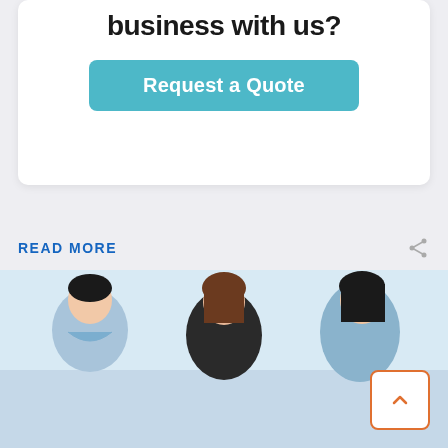business with us?
Request a Quote
READ MORE
[Figure (photo): Three Asian women smiling and working together, looking at something off-frame; business/office setting.]